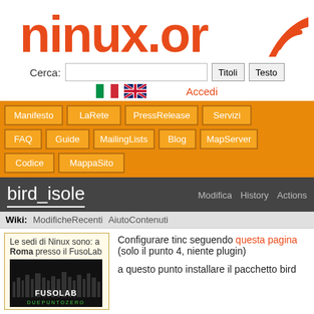[Figure (logo): ninux.org logo in orange/red rounded font]
Cerca: [input] Titoli Testo
Italian flag, UK flag, Accedi
Manifesto
LaRete
PressRelease
Servizi
FAQ
Guide
MailingLists
Blog
MapServer
Codice
MappaSito
bird_isole
Modifica  History  Actions
Wiki:  ModificheRecenti  AiutoContenuti
Le sedi di Ninux sono: a Roma presso il FusoLab
[Figure (photo): FusoLab DuePuntoZero logo with city skyline on dark background]
Configurare tinc seguendo questa pagina (solo il punto 4, niente plugin)
a questo punto installare il pacchetto bird